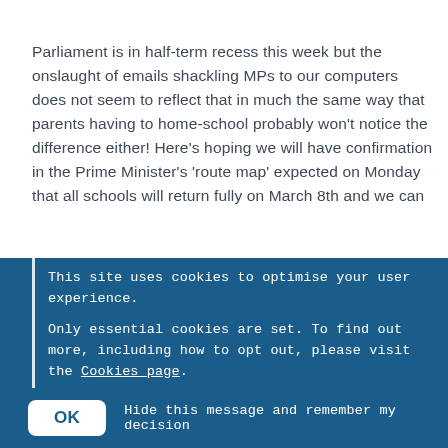Parliament is in half-term recess this week but the onslaught of emails shackling MPs to our computers does not seem to reflect that in much the same way that parents having to home-school probably won't notice the difference either! Here's hoping we will have confirmation in the Prime Minister's 'route map' expected on Monday that all schools will return fully on March 8th and we can
This site uses cookies to optimise your user experience.

Only essential cookies are set. To find out more, including how to opt out, please visit the Cookies page.
OK   Hide this message and remember my decision